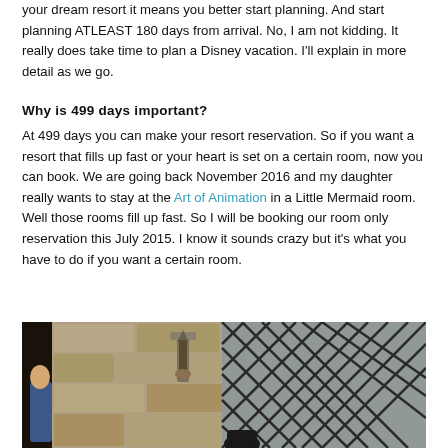your dream resort it means you better start planning. And start planning ATLEAST 180 days from arrival. No, I am not kidding. It really does take time to plan a Disney vacation. I'll explain in more detail as we go.
Why is 499 days important?
At 499 days you can make your resort reservation. So if you want a resort that fills up fast or your heart is set on a certain room, now you can book. We are going back November 2016 and my daughter really wants to stay at the Art of Animation in a Little Mermaid room. Well those rooms fill up fast. So I will be booking our room only reservation this July 2015. I know it sounds crazy but it's what you have to do if you want a certain room.
[Figure (photo): A photo showing what appears to be a Disney resort interior with stone/castle-like walls, a decorative wall sconce, diamond-pattern leaded glass windows, and a child visible on the left side.]